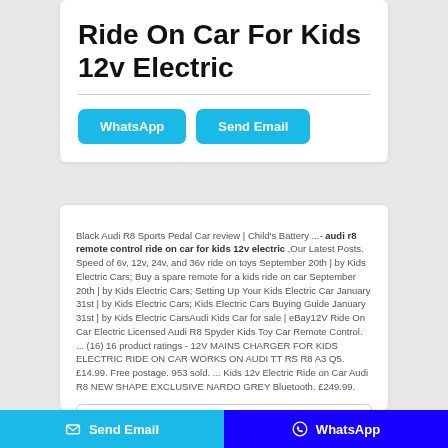Ride On Car For Kids 12v Electric
Black Audi R8 Sports Pedal Car review | Child's Battery ...- audi r8 remote control ride on car for kids 12v electric ,Our Latest Posts. Speed of 6v, 12v, 24v, and 36v ride on toys September 20th | by Kids Electric Cars; Buy a spare remote for a kids ride on car September 20th | by Kids Electric Cars; Setting Up Your Kids Electric Car January 31st | by Kids Electric Cars; Kids Electric Cars Buying Guide January 31st | by Kids Electric CarsAudi Kids Car for sale | eBay12V Ride On Car Electric Licensed Audi R8 Spyder Kids Toy Car Remote Control. ... (16) 16 product ratings - 12V MAINS CHARGER FOR KIDS ELECTRIC RIDE ON CAR WORKS ON AUDI TT RS R8 A3 Q5. £14.99. Free postage. 953 sold. ... Kids 12v Electric Ride on Car Audi R8 NEW SHAPE EXCLUSIVE NARDO GREY Bluetooth. £249.99.
E-mail*